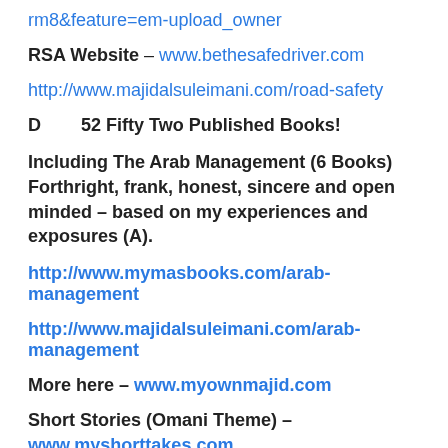rm8&feature=em-upload_owner
RSA Website – www.bethesafedriver.com
http://www.majidalsuleimani.com/road-safety
D        52 Fifty Two Published Books!
Including The Arab Management (6 Books) Forthright, frank, honest, sincere and open minded – based on my experiences and exposures (A).
http://www.mymasbooks.com/arab-management
http://www.majidalsuleimani.com/arab-management
More here – www.myownmajid.com
Short Stories (Omani Theme) – www.myshorttakes.com